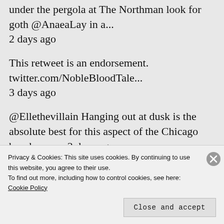under the pergola at The Northman look for goth @AnaeaLay in a...
2 days ago
This retweet is an endorsement. twitter.com/NobleBloodTale...
3 days ago
@Ellethevillain Hanging out at dusk is the absolute best for this aspect of the Chicago beach scene. 3 days ago
@RB_Lemberg Gerunds are pretending to be something they aren't and
Privacy & Cookies: This site uses cookies. By continuing to use this website, you agree to their use.
To find out more, including how to control cookies, see here: Cookie Policy
Close and accept